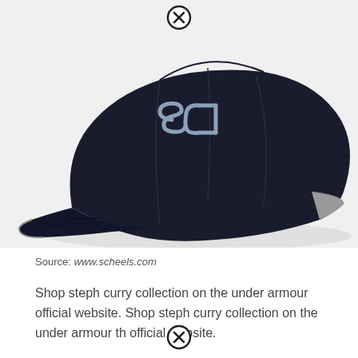[Figure (photo): A dark navy blue baseball cap with an embroidered SC30 (Steph Curry) logo on the front crown. The cap has a curved brim and is shown at an angle on a white/light gray background. A close/X icon circle appears at the top center of the image.]
Source: www.scheels.com
Shop steph curry collection on the under armour official website. Shop steph curry collection on the under armour th official website.